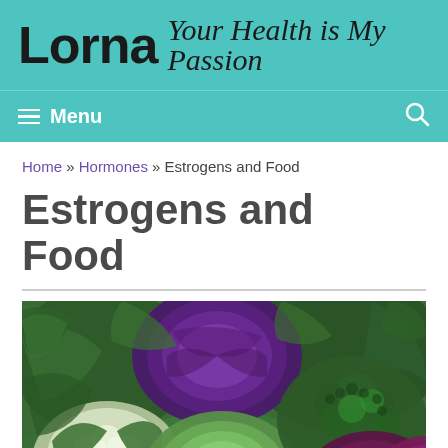Lorna Your Health is My Passion
Menu
Home » Hormones » Estrogens and Food
Estrogens and Food
[Figure (photo): Overhead photo of assorted cruciferous vegetables including cauliflower, purple cabbage, green cabbage, broccoli, and red cabbage arranged together.]